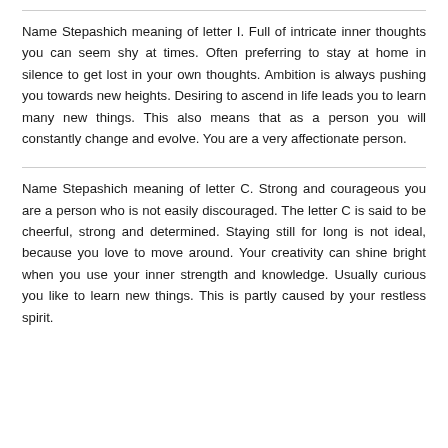Name Stepashich meaning of letter I. Full of intricate inner thoughts you can seem shy at times. Often preferring to stay at home in silence to get lost in your own thoughts. Ambition is always pushing you towards new heights. Desiring to ascend in life leads you to learn many new things. This also means that as a person you will constantly change and evolve. You are a very affectionate person.
Name Stepashich meaning of letter C. Strong and courageous you are a person who is not easily discouraged. The letter C is said to be cheerful, strong and determined. Staying still for long is not ideal, because you love to move around. Your creativity can shine bright when you use your inner strength and knowledge. Usually curious you like to learn new things. This is partly caused by your restless spirit.